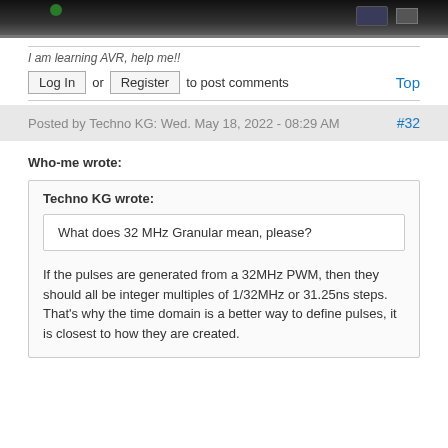[Figure (photo): Partial view of electronic equipment panel, dark background with some controls visible]
I am learning AVR, help me!!
Log In or Register to post comments   Top
Posted by Techno KG: Wed. May 18, 2022 - 08:29 AM   #32
Who-me wrote:
Techno KG wrote:
What does 32 MHz Granular mean, please?
If the pulses are generated from a 32MHz PWM, then they should all be integer multiples of 1/32MHz or 31.25ns steps.
That's why the time domain is a better way to define pulses, it is closest to how they are created.